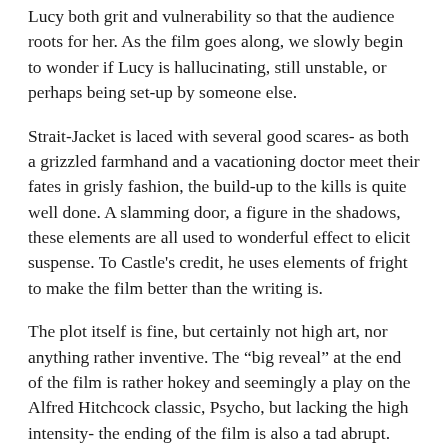Lucy both grit and vulnerability so that the audience roots for her. As the film goes along, we slowly begin to wonder if Lucy is hallucinating, still unstable, or perhaps being set-up by someone else.
Strait-Jacket is laced with several good scares- as both a grizzled farmhand and a vacationing doctor meet their fates in grisly fashion, the build-up to the kills is quite well done. A slamming door, a figure in the shadows, these elements are all used to wonderful effect to elicit suspense. To Castle's credit, he uses elements of fright to make the film better than the writing is.
The plot itself is fine, but certainly not high art, nor anything rather inventive. The “big reveal” at the end of the film is rather hokey and seemingly a play on the Alfred Hitchcock classic, Psycho, but lacking the high intensity- the ending of the film is also a tad abrupt.